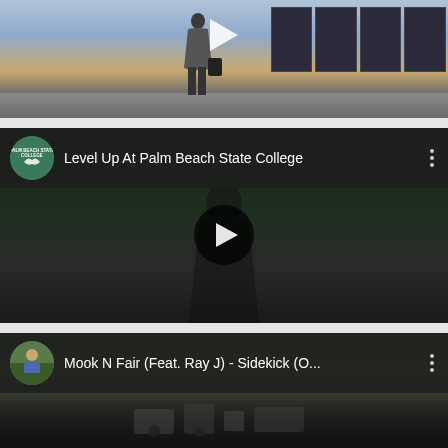[Figure (screenshot): YouTube video thumbnail - airport scene with person walking, play button visible at top]
[Figure (screenshot): YouTube video card: 'Level Up At Palm Beach State College' with Palm Beach State College channel icon (green circle logo) and dark video thumbnail showing person from behind]
[Figure (screenshot): YouTube video card: 'Mook N Fair (Feat. Ray J) - Sidekick (O...' with channel icon showing a person sitting outdoors]